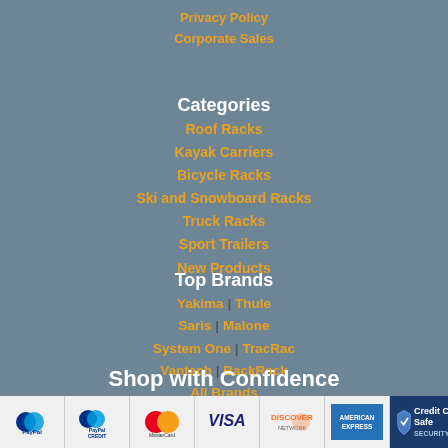Privacy Policy
Corporate Sales
Categories
Roof Racks
Kayak Carriers
Bicycle Racks
Ski and Snowboard Racks
Truck Racks
Sport Trailers
New Products
Top Brands
Yakima | Thule
Saris | Malone
System One | TracRac
Vantech | BackRack
All Brands
Site Map
Shop with Confidence
[Figure (logo): Payment method logos: PayPal, PayPal Credit, MasterCard, VISA, Discover, American Express, Credit Card Safe SecurityMetrics]